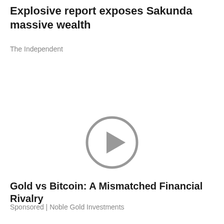Explosive report exposes Sakunda massive wealth
The Independent
[Figure (other): Video player icon — a circular play button (grey ring with a grey triangle pointing right) on a white background]
Gold vs Bitcoin: A Mismatched Financial Rivalry
Sponsored | Noble Gold Investments